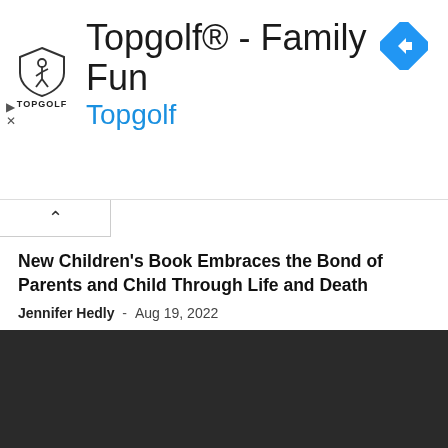[Figure (logo): Topgolf advertisement banner with shield logo, title 'Topgolf® - Family Fun', subtitle 'Topgolf' in blue, blue diamond arrow icon, and ad controls (play and close buttons)]
New Children's Book Embraces the Bond of Parents and Child Through Life and Death
Jennifer Hedly  -  Aug 19, 2022
Vice Capital Markets Releases API for Freddie Mac Cash Purchase Statement
Jennifer Hedly  -  Aug 18, 2022